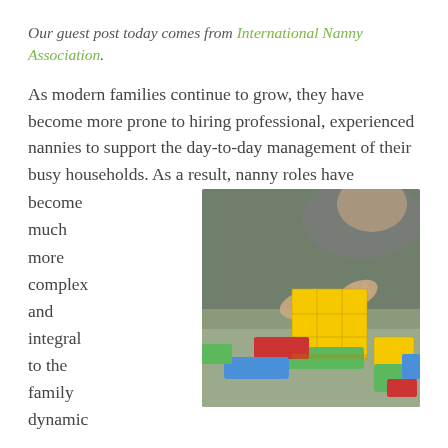Our guest post today comes from International Nanny Association.
As modern families continue to grow, they have become more prone to hiring professional, experienced nannies to support the day-to-day management of their busy households. As a result, nanny roles have become much more complex and integral to the family dynamic
[Figure (photo): A child playing with colorful wooden building blocks, assembling yellow cube blocks with green, red, and blue blocks scattered on the table surface.]